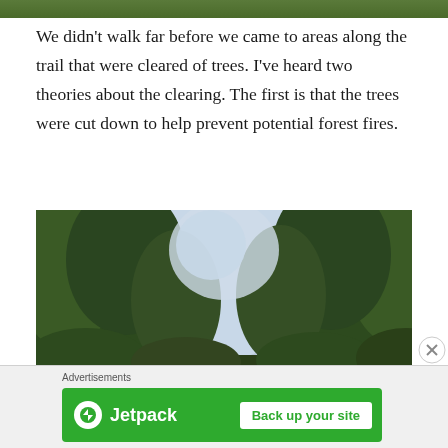[Figure (photo): Top strip of a photo showing trees and foliage, cropped at the top of the page]
We didn't walk far before we came to areas along the trail that were cleared of trees. I've heard two theories about the clearing. The first is that the trees were cut down to help prevent potential forest fires.
[Figure (photo): Photograph taken looking up through tall trees at a cloudy grey sky, with green leafy canopy surrounding a gap in the middle]
Advertisements
[Figure (other): Jetpack advertisement banner with green background showing Jetpack logo and 'Back up your site' button]